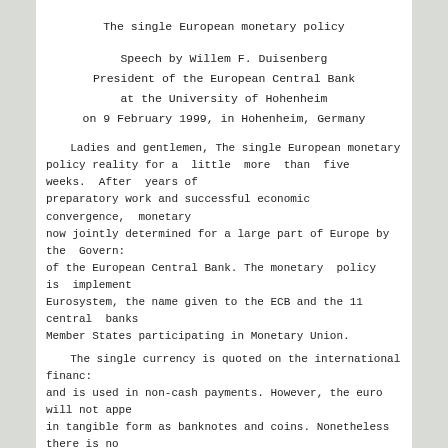The single European monetary policy
Speech by Willem F. Duisenberg
President of the European Central Bank
at the University of Hohenheim
on 9 February 1999, in Hohenheim, Germany
Ladies and gentlemen, The single European monetary policy reality for a little more than five weeks. After years of preparatory work and successful economic convergence, monetary now jointly determined for a large part of Europe by the Governing of the European Central Bank. The monetary policy is implemented Eurosystem, the name given to the ECB and the 11 central banks Member States participating in Monetary Union.
The single currency is quoted on the international financial and is used in non-cash payments. However, the euro will not appear in tangible form as banknotes and coins. Nonetheless there is no this currency, which was only brought into existence on 1 January will play an important role both within the euro area and beyond.
There is good reason for this confidence, ladies and Overall the first few weeks went smoothly for the single currency monetary policy of the Eurosystem. The start did not pass without a hitch - which was not to be expected in any case,